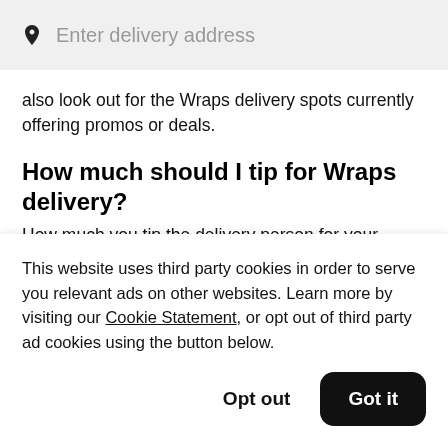[Figure (screenshot): Search bar with pin/location icon and placeholder text 'Enter delivery address' on a light grey background]
also look out for the Wraps delivery spots currently offering promos or deals.
How much should I tip for Wraps delivery?
How much you tip the delivery person for your Wraps order is up to you. When you add a tip, 100% of it will go to them
This website uses third party cookies in order to serve you relevant ads on other websites. Learn more by visiting our Cookie Statement, or opt out of third party ad cookies using the button below.